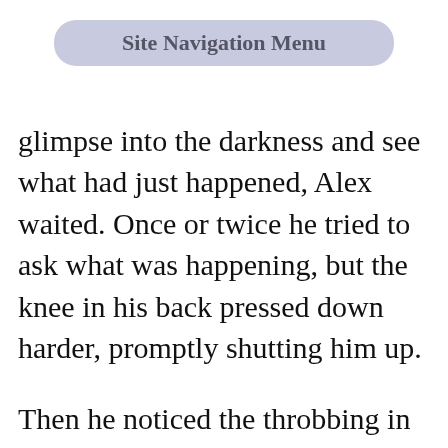[Figure (screenshot): Site Navigation Menu button — a rounded pill-shaped button with light purple/blue background and bold gray text reading 'Site Navigation Menu']
glimpse into the darkness and see what had just happened, Alex waited. Once or twice he tried to ask what was happening, but the knee in his back pressed down harder, promptly shutting him up.

Then he noticed the throbbing in his right hand. Someone